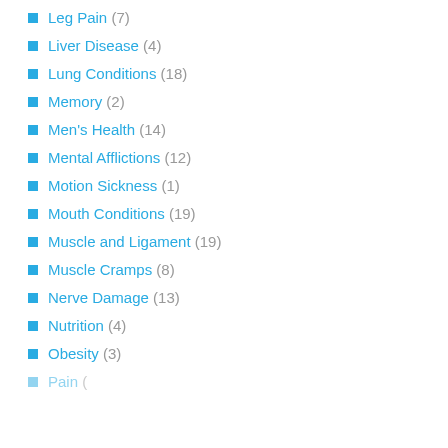Leg Pain (7)
Liver Disease (4)
Lung Conditions (18)
Memory (2)
Men's Health (14)
Mental Afflictions (12)
Motion Sickness (1)
Mouth Conditions (19)
Muscle and Ligament (19)
Muscle Cramps (8)
Nerve Damage (13)
Nutrition (4)
Obesity (3)
Pain (?)